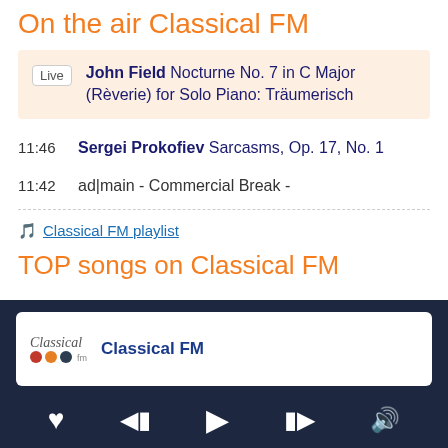On the air Classical FM
Live  John Field Nocturne No. 7 in C Major (Rèverie) for Solo Piano: Träumerisch
11:46  Sergei Prokofiev Sarcasms, Op. 17, No. 1
11:42  ad|main - Commercial Break -
🎵 Classical FM playlist
TOP songs on Classical FM
Classical FM
[Figure (screenshot): Radio player controls: heart/favorite, skip back, play, skip forward, volume icons on dark navy background]